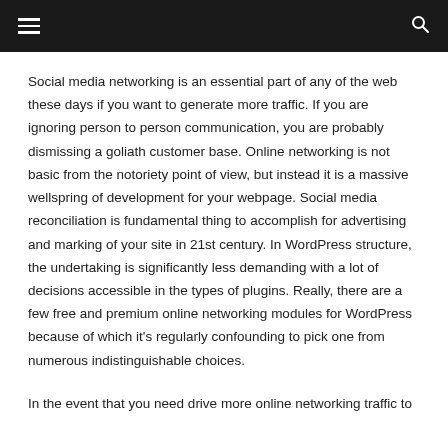Navigation bar with hamburger menu and search icon
Social media networking is an essential part of any of the web these days if you want to generate more traffic. If you are ignoring person to person communication, you are probably dismissing a goliath customer base. Online networking is not basic from the notoriety point of view, but instead it is a massive wellspring of development for your webpage. Social media reconciliation is fundamental thing to accomplish for advertising and marking of your site in 21st century. In WordPress structure, the undertaking is significantly less demanding with a lot of decisions accessible in the types of plugins. Really, there are a few free and premium online networking modules for WordPress because of which it's regularly confounding to pick one from numerous indistinguishable choices.
In the event that you need drive more online networking traffic to